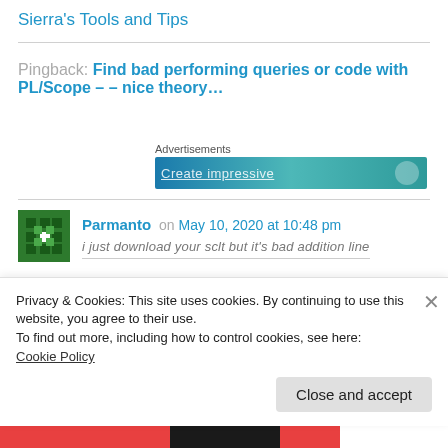Sierra's Tools and Tips
Pingback: Find bad performing queries or code with PL/Scope – – nice theory…
[Figure (screenshot): Advertisements banner with blue-teal gradient and white text partially visible]
Parmanto on May 10, 2020 at 10:48 pm
i just download your sclt but it's bad addition line…
Privacy & Cookies: This site uses cookies. By continuing to use this website, you agree to their use.
To find out more, including how to control cookies, see here: Cookie Policy
Close and accept